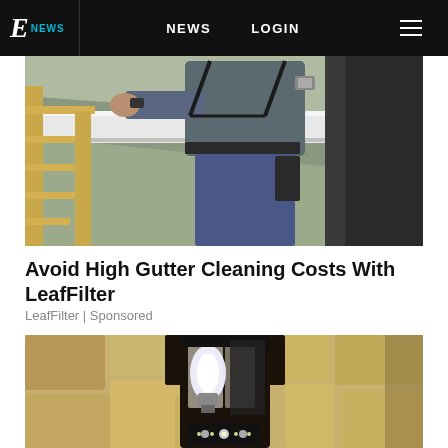E! NEWS  NEWS  LOGIN
[Figure (photo): Person on a ladder cleaning or inspecting a white gutter on a roof edge, wearing work harness and casual clothes]
Avoid High Gutter Cleaning Costs With LeafFilter
LeafFilter | Sponsored
[Figure (photo): Close-up of an outdoor wall-mounted lantern light fixture on a stone/stucco wall, appearing to have a camera security feature with LED lights at the bottom]